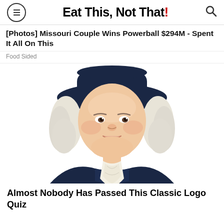Eat This, Not That!
[Photos] Missouri Couple Wins Powerball $294M - Spent It All On This
Food Sided
[Figure (illustration): Illustrated mascot of the Quaker Oats man: a smiling older man with white curly hair wearing a dark blue colonial-style coat and a dark wide-brimmed hat, with a white cravat at his neck, shown from the shoulders up on a white background.]
Almost Nobody Has Passed This Classic Logo Quiz